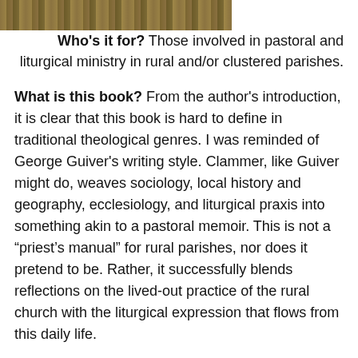[Figure (photo): Partial photograph of golden/brown wheat or grain field, cropped at top of page]
Who's it for? Those involved in pastoral and liturgical ministry in rural and/or clustered parishes.
What is this book? From the author's introduction, it is clear that this book is hard to define in traditional theological genres. I was reminded of George Guiver's writing style. Clammer, like Guiver might do, weaves sociology, local history and geography, ecclesiology, and liturgical praxis into something akin to a pastoral memoir. This is not a “priest’s manual” for rural parishes, nor does it pretend to be. Rather, it successfully blends reflections on the lived-out practice of the rural church with the liturgical expression that flows from this daily life.